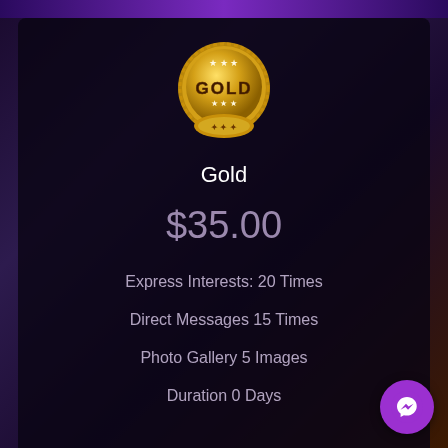[Figure (illustration): Gold medal badge with serrated edge, stars, and 'GOLD' text on a golden circular medallion with ribbon at bottom]
Gold
$35.00
Express Interests: 20 Times
Direct Messages 15 Times
Photo Gallery 5 Images
Duration 0 Days